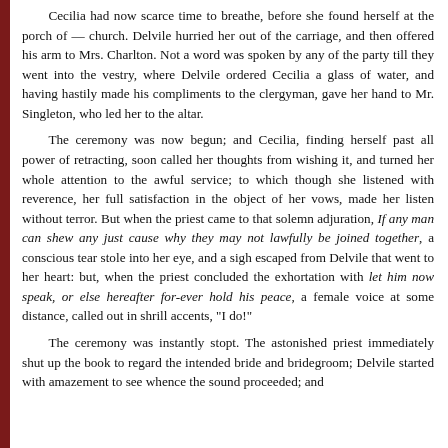Cecilia had now scarce time to breathe, before she found herself at the porch of — church. Delvile hurried her out of the carriage, and then offered his arm to Mrs. Charlton. Not a word was spoken by any of the party till they went into the vestry, where Delvile ordered Cecilia a glass of water, and having hastily made his compliments to the clergyman, gave her hand to Mr. Singleton, who led her to the altar.

The ceremony was now begun; and Cecilia, finding herself past all power of retracting, soon called her thoughts from wishing it, and turned her whole attention to the awful service; to which though she listened with reverence, her full satisfaction in the object of her vows, made her listen without terror. But when the priest came to that solemn adjuration, If any man can shew any just cause why they may not lawfully be joined together, a conscious tear stole into her eye, and a sigh escaped from Delvile that went to her heart: but, when the priest concluded the exhortation with let him now speak, or else hereafter for-ever hold his peace, a female voice at some distance, called out in shrill accents, "I do!"

The ceremony was instantly stopt. The astonished priest immediately shut up the book to regard the intended bride and bridegroom; Delvile started with amazement to see whence the sound proceeded; and